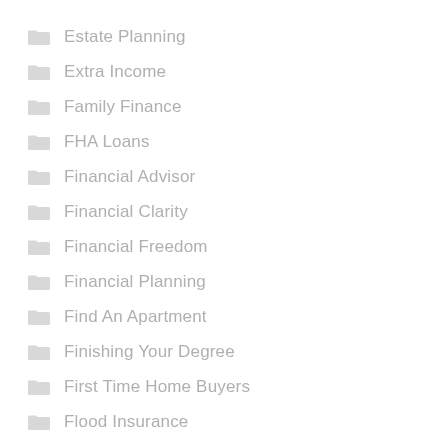Estate Planning
Extra Income
Family Finance
FHA Loans
Financial Advisor
Financial Clarity
Financial Freedom
Financial Planning
Find An Apartment
Finishing Your Degree
First Time Home Buyers
Flood Insurance